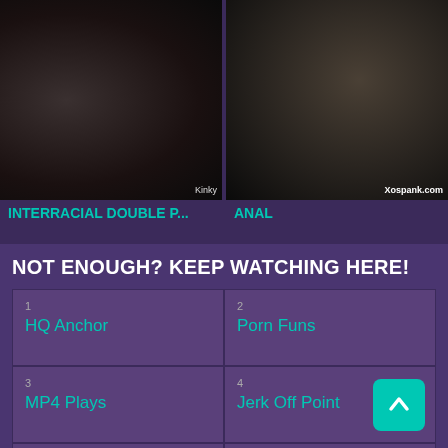[Figure (screenshot): Two video thumbnails side by side: left shows interracial scene with watermark 'Kinky', right shows scene with watermark 'Xospank.com']
INTERRACIAL DOUBLE P...
ANAL
NOT ENOUGH? KEEP WATCHING HERE!
1 HQ Anchor
2 Porn Funs
3 MP4 Plays
4 Jerk Off Point
5 HQ Reels
6 WC For All!